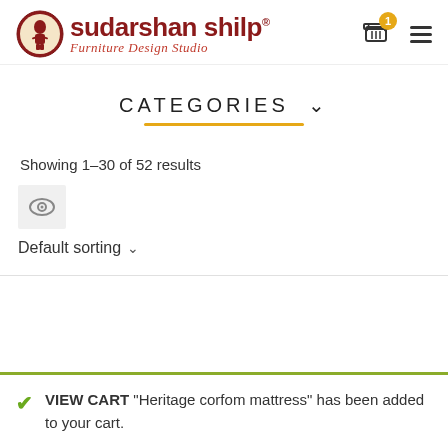[Figure (logo): Sudarshan Shilp Furniture Design Studio logo with icon and text]
CATEGORIES ∨
Showing 1–30 of 52 results
[Figure (other): Eye/view toggle icon in grey box]
Default sorting ∨
✔ VIEW CART "Heritage corfom mattress" has been added to your cart.